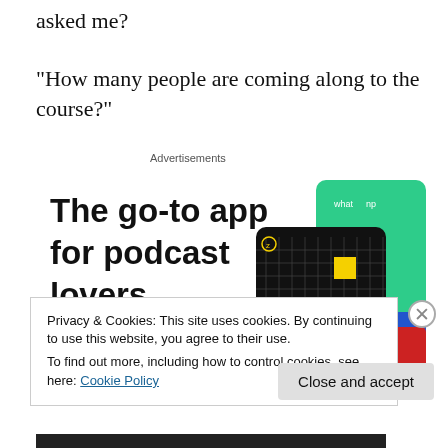asked me?
“How many people are coming along to the course?”
Advertisements
[Figure (infographic): Advertisement for a podcast app. Large bold text reads 'The go-to app for podcast lovers.' with a red 'Download now' call-to-action link. On the right side are app cards/tiles including a dark card labeled '99% INVISIBLE' with a yellow square icon, a green card, and a blue card partially visible.]
Privacy & Cookies: This site uses cookies. By continuing to use this website, you agree to their use.
To find out more, including how to control cookies, see here: Cookie Policy
Close and accept